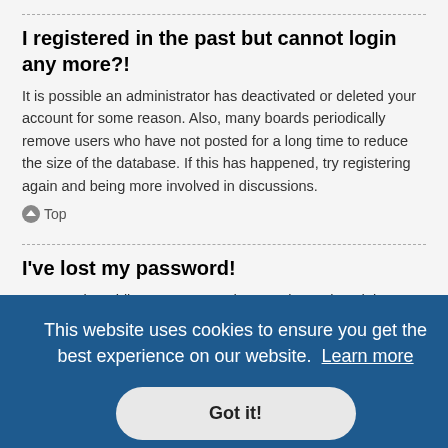I registered in the past but cannot login any more?!
It is possible an administrator has deactivated or deleted your account for some reason. Also, many boards periodically remove users who have not posted for a long time to reduce the size of the database. If this has happened, try registering again and being more involved in discussions.
Top
I've lost my password!
Don't panic! While your password cannot be retrieved, it can easily be reset. Visit the login page and click I forgot my password. Follow the instructions and you should be able to log in again shortly.
However, if you are not able to reset your password, contact a board
This website uses cookies to ensure you get the best experience on our website. Learn more
Got it!
oard will f your account by anyone else. To stay logged in, check the Remember me box